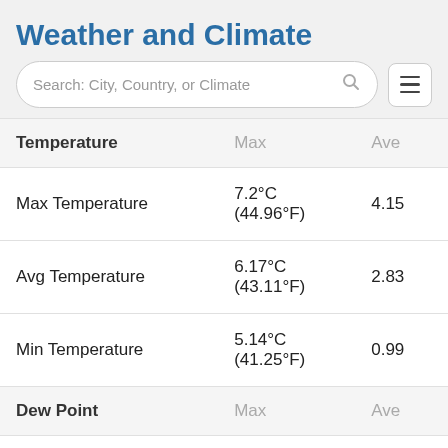Weather and Climate
| Temperature | Max | Ave |
| --- | --- | --- |
| Max Temperature | 7.2°C (44.96°F) | 4.15 |
| Avg Temperature | 6.17°C (43.11°F) | 2.83 |
| Min Temperature | 5.14°C (41.25°F) | 0.99 |
| Dew Point | Max | Ave |
| Dew Point | 4.11°C (39.4°F) | 0.29 |
| Precipitation | Max |  |
| Precipitation | 16.14mm | 0.64in | 2.45 |